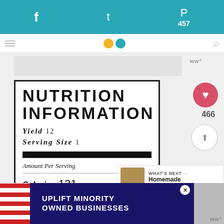Social share bar with Facebook, Twitter icons and Pinterest 457
NUTRITION INFORMATION
Yield 12
Serving Size 1
Amount Per Serving
Calories 131
WHAT'S NEXT → Homemade Garlic...
UPLIFT MINORITY OWNED BUSINESSES